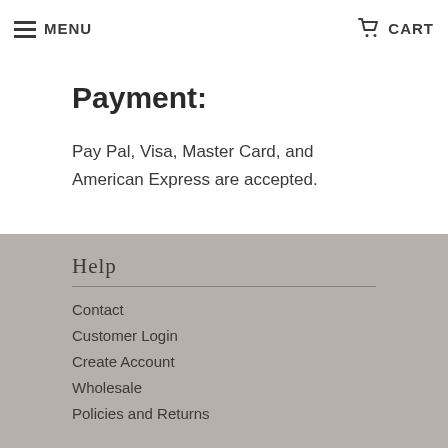MENU | CART
5164 Caldwell Mill Rd. Suite 204-268
Birmingham, AL 35244
Payment:
Pay Pal, Visa, Master Card, and American Express are accepted.
Help
Contact
Customer Login
Create Account
Wholesale
Policies and Returns